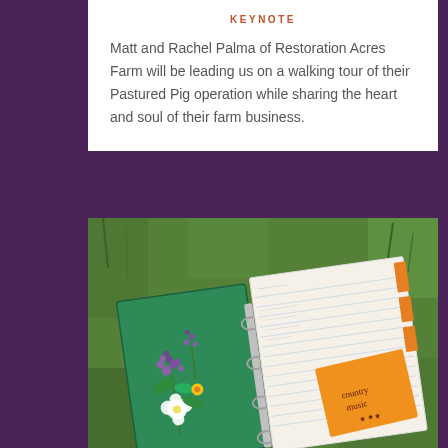KEYNOTE
Matt and Rachel Palma of Restoration Acres Farm will be leading us on a walking tour of their Pastured Pig operation while sharing the heart and soul of their farm business.
[Figure (photo): An open binder/notebook with flowers placed on the left cover, sitting on green grass. An orange booklet labeled 'country music' is visible on the right side pages.]